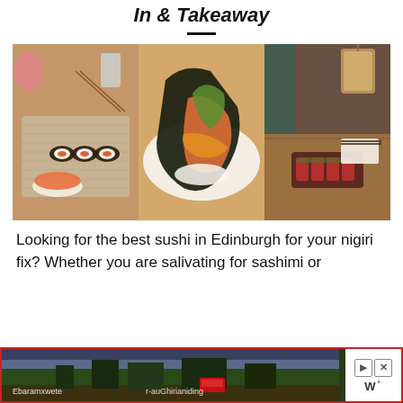In & Takeaway
[Figure (photo): Three-panel collage of sushi restaurant photos: left panel shows salmon nigiri and maki rolls on a woven mat with chopsticks and a glass of water; center panel shows a temaki hand roll with salmon and vegetables on a white plate; right panel shows a Japanese restaurant interior with tuna sashimi on a dark plate on a wooden table with ambient lighting.]
Looking for the best sushi in Edinburgh for your nigiri fix? Whether you are salivating for sashimi or
[Figure (photo): Advertisement banner with red border showing a panoramic landscape/cityscape image with travel-related content. Controls on right side show forward/back arrows and a logo.]